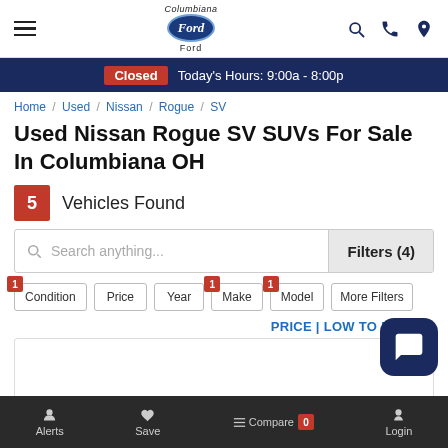[Figure (screenshot): Columbiana Ford dealership website header with hamburger menu, Ford oval logo, and navigation icons (search, phone, location)]
Closed  Today's Hours: 9:00a - 8:00p
Home / Used / Nissan / Rogue / SV
Used Nissan Rogue SV SUVs For Sale In Columbiana OH
5 Vehicles Found
Search anything...
Filters (4)
1 Condition
Price
Year
1 Make
1 Model
More Filters
PRICE | LOW TO HIGH
Alerts   Save   Compare 0   Login